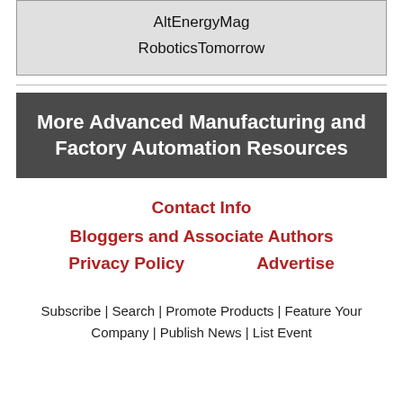| AltEnergyMag |
| RoboticsTomorrow |
More Advanced Manufacturing and Factory Automation Resources
Contact Info
Bloggers and Associate Authors
Privacy Policy    Advertise
Subscribe | Search | Promote Products | Feature Your Company | Publish News | List Event